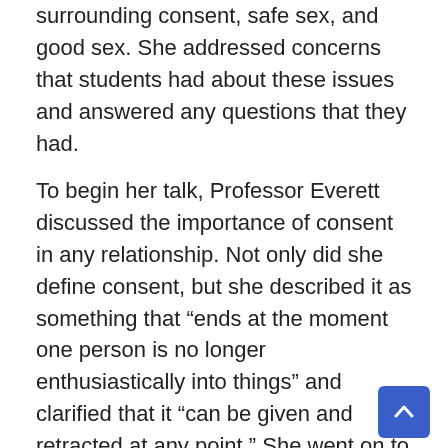surrounding consent, safe sex, and good sex. She addressed concerns that students had about these issues and answered any questions that they had.
To begin her talk, Professor Everett discussed the importance of consent in any relationship. Not only did she define consent, but she described it as something that “ends at the moment one person is no longer enthusiastically into things” and clarified that it “can be given and retracted at any point.” She went on to remind everyone that no one can accurately provide consent while under the influence of substances—drugs, alcohol, etc. She addressed the issue of consent specifically because many people vaguely understand